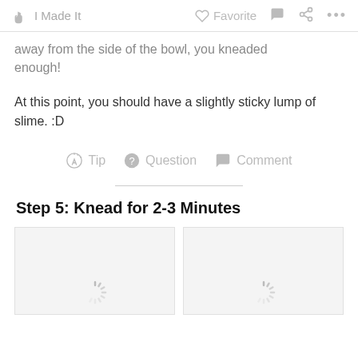✋ I Made It   ♡ Favorite  💬  ⋯
away from the side of the bowl, you kneaded enough!
At this point, you should have a slightly sticky lump of slime. :D
💡 Tip  ❓ Question  💬 Comment
Step 5: Knead for 2-3 Minutes
[Figure (photo): Two image placeholders with loading spinners, side by side]